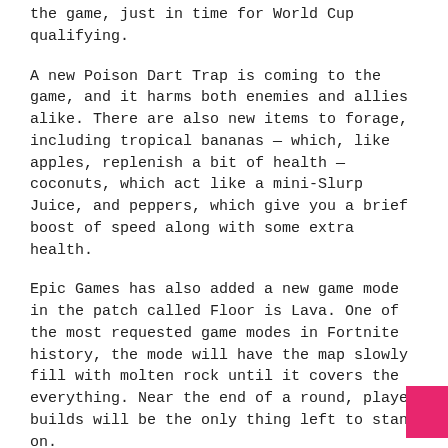the game, just in time for World Cup qualifying.
A new Poison Dart Trap is coming to the game, and it harms both enemies and allies alike. There are also new items to forage, including tropical bananas — which, like apples, replenish a bit of health — coconuts, which act like a mini-Slurp Juice, and peppers, which give you a brief boost of speed along with some extra health.
Epic Games has also added a new game mode in the patch called Floor is Lava. One of the most requested game modes in Fortnite history, the mode will have the map slowly fill with molten rock until it covers the everything. Near the end of a round, player builds will be the only thing left to stand on.
This patch also adds Arena mode, the first game mode that players will need to compete in to reach the World Cup qualifiers. Arena mode is a ranked mode, with skill based matchmaking, where players will have to score points in